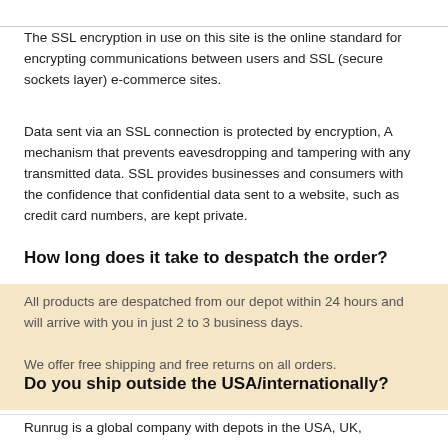The SSL encryption in use on this site is the online standard for encrypting communications between users and SSL (secure sockets layer) e-commerce sites.
Data sent via an SSL connection is protected by encryption, A mechanism that prevents eavesdropping and tampering with any transmitted data. SSL provides businesses and consumers with the confidence that confidential data sent to a website, such as credit card numbers, are kept private.
How long does it take to despatch the order?
All products are despatched from our depot within 24 hours and will arrive with you in just 2 to 3 business days.

We offer free shipping and free returns on all orders.
Do you ship outside the USA/internationally?
Runrug is a global company with depots in the USA, UK,